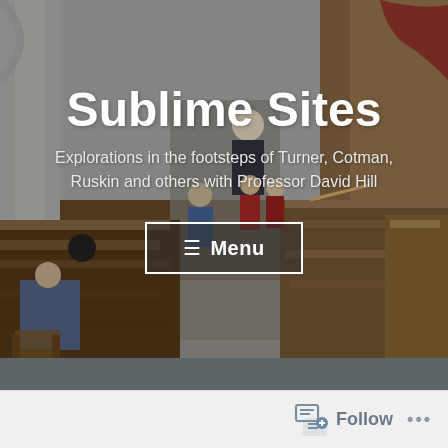[Figure (illustration): A historical watercolour painting showing the interior of a church or cathedral with wooden pews, figures seated and standing, stone columns, warm brown woodwork, and colourful clothing on the figures.]
Sublime Sites
Explorations in the footsteps of Turner, Cotman, Ruskin and others with Professor David Hill
☰ Menu